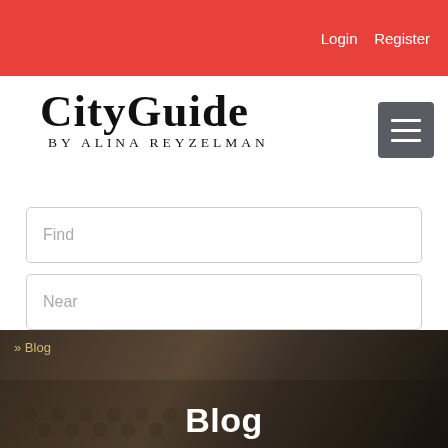Login   Register
CityGuide
BY ALINA REYZELMAN
Find
Near
Search
[Figure (screenshot): Dark background image showing an old typewriter keyboard with blog breadcrumb and Blog title text overlaid]
» Blog
Blog